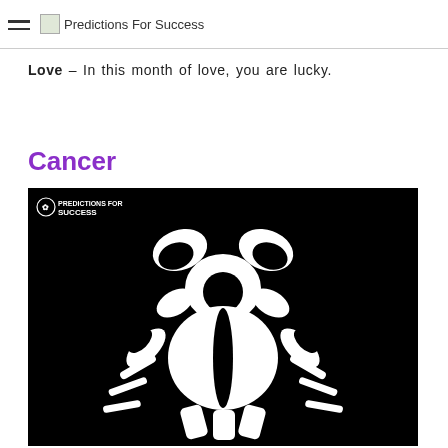Predictions For Success
Love – In this month of love, you are lucky.
Cancer
[Figure (illustration): Black background with white Cancer zodiac symbol (crab illustration) and a small 'Predictions For Success' watermark logo in the top left corner.]